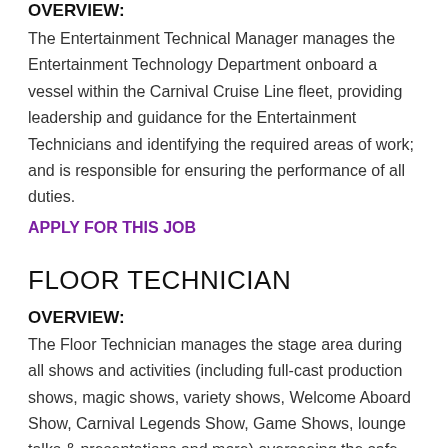OVERVIEW:
The Entertainment Technical Manager manages the Entertainment Technology Department onboard a vessel within the Carnival Cruise Line fleet, providing leadership and guidance for the Entertainment Technicians and identifying the required areas of work; and is responsible for ensuring the performance of all duties.
APPLY FOR THIS JOB
FLOOR TECHNICIAN
OVERVIEW:
The Floor Technician manages the stage area during all shows and activities (including full-cast production shows, magic shows, variety shows, Welcome Aboard Show, Carnival Legends Show, Game Shows, lounge talks & presentations and more) overseeing the safe entrance/exits